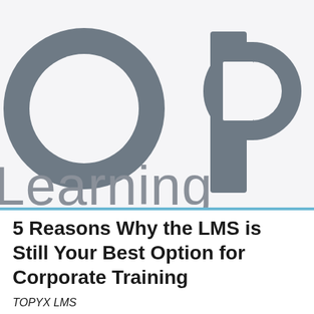[Figure (logo): Large cropped OP Learning logo in dark gray on light background, showing the letters 'o', 'p' and partial 'Learning' text]
5 Reasons Why the LMS is Still Your Best Option for Corporate Training
TOPYX LMS